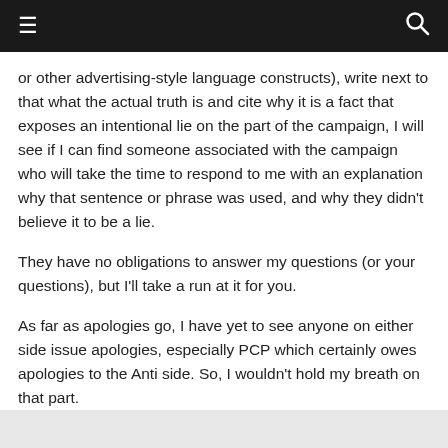≡  🔍
or other advertising-style language constructs), write next to that what the actual truth is and cite why it is a fact that exposes an intentional lie on the part of the campaign, I will see if I can find someone associated with the campaign who will take the time to respond to me with an explanation why that sentence or phrase was used, and why they didn't believe it to be a lie.
They have no obligations to answer my questions (or your questions), but I'll take a run at it for you.
As far as apologies go, I have yet to see anyone on either side issue apologies, especially PCP which certainly owes apologies to the Anti side. So, I wouldn't hold my breath on that part.